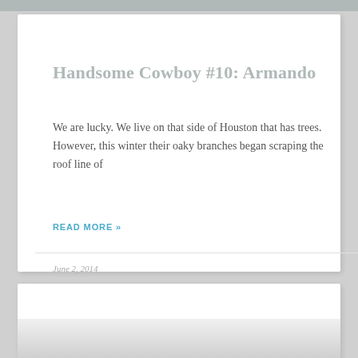Handsome Cowboy #10: Armando
We are lucky. We live on that side of Houston that has trees. However, this winter their oaky branches began scraping the roof line of
READ MORE »
June 2, 2014